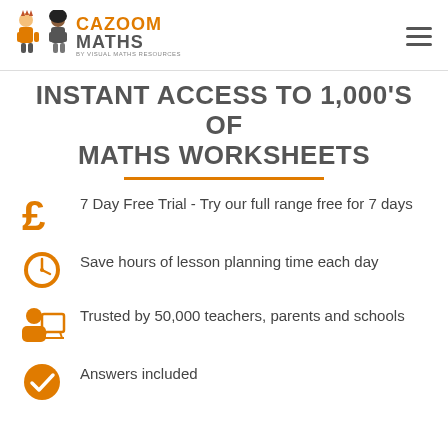[Figure (logo): Cazoom Maths logo with cartoon characters and text 'CAZOOM MATHS - By Visual Maths Resources']
INSTANT ACCESS TO 1,000'S OF MATHS WORKSHEETS
7 Day Free Trial - Try our full range free for 7 days
Save hours of lesson planning time each day
Trusted by 50,000 teachers, parents and schools
Answers included